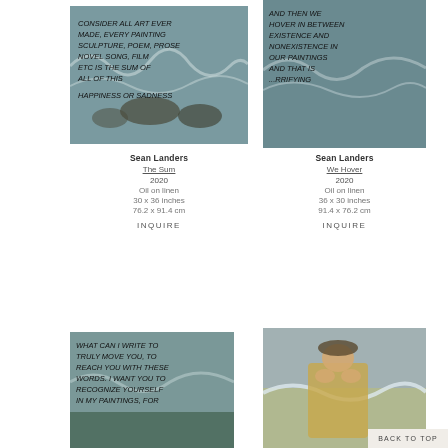[Figure (photo): Painting of ocean waves with handwritten text: CONSIDER ALL ART EVER MADE, EVERY PAINTING SCULPTURE, POEM, PROSE NOVEL SONG, FILM ETC IS THE SUM OF ALL OF THIS HAPPINESS OR SADNESS]
[Figure (photo): Painting of ocean waves with handwritten text: AND THEN WE HOVER IN BETWEEN EXISTENCE AND NONEXISTENCE IN OUR PAINTINGS AND THAT IS TERRIFYING]
Sean Landers
The Sum
2020
Oil on linen
30 x 36 inches
76.2 x 91.4 cm
INQUIRE
Sean Landers
We Hover
2020
Oil on linen
36 x 30 inches
91.4 x 76.2 cm
INQUIRE
[Figure (photo): Painting of ocean waves with handwritten text: WHAT CAN I WRITE TO TRULY MOVE YOU, TO REACH YOU WITH THESE WORDS. I WANT YOU TO RECOGNIZE YOURSELF IN MY PAINTINGS, FOR]
[Figure (photo): Painting of a man in a raincoat shouting with hands cupped around mouth, ocean waves in background]
BACK TO TOP